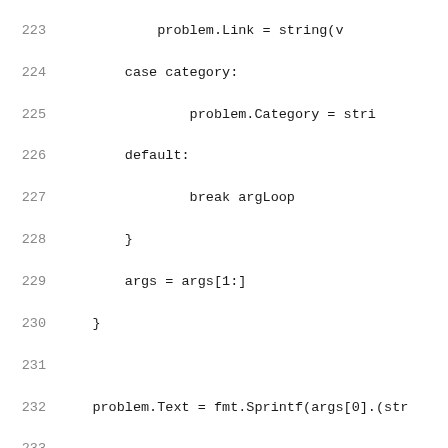Source code listing, lines 223-244, Go programming language
223: problem.Link = string(v
224: case category:
225: problem.Category = stri
226: default:
227: break argLoop
228: }
229: args = args[1:]
230: }
231: (blank)
232: problem.Text = fmt.Sprintf(args[0].(str
233: (blank)
234: p.problems = append(p.problems, problem
235: return &p.problems[len(p.problems)-1]
236: }
237: (blank)
238: var gcImporter = gcimporter.Import
239: (blank)
240: // importer implements go/types.Importer{,From}
241: type importer struct {
242: impFn func(packages map[string]*type
243: packages map[string]*types.Package
244: }